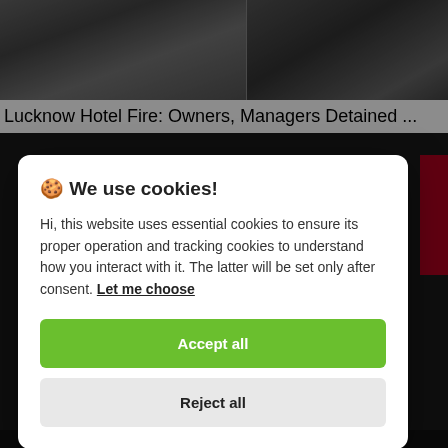[Figure (photo): Two dark-toned news images side by side showing a scene related to Lucknow Hotel Fire]
Lucknow Hotel Fire: Owners, Managers Detained ...
🍪 We use cookies!
Hi, this website uses essential cookies to ensure its proper operation and tracking cookies to understand how you interact with it. The latter will be set only after consent. Let me choose
Accept all
Reject all